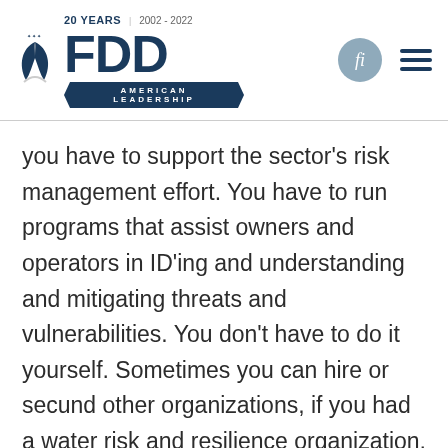FDD — Foundation for Defense of Democracies. 20 YEARS | 2002 - 2022. AMERICAN LEADERSHIP
you have to support the sector's risk management effort. You have to run programs that assist owners and operators in ID'ing and understanding and mitigating threats and vulnerabilities. You don't have to do it yourself. Sometimes you can hire or secund other organizations, if you had a water risk and resilience organization, could do that. In the absence of that, you can use associations like